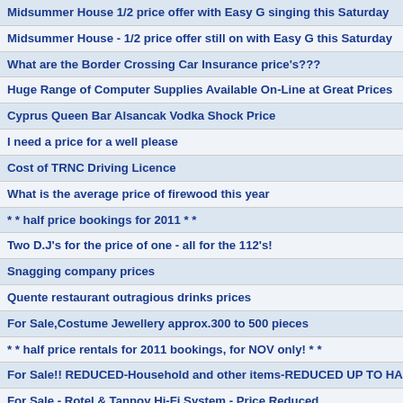Midsummer House 1/2 price offer with Easy G singing this Saturday
Midsummer House - 1/2 price offer still on with Easy G this Saturday
What are the Border Crossing Car Insurance price's???
Huge Range of Computer Supplies Available On-Line at Great Prices
Cyprus Queen Bar Alsancak Vodka Shock Price
I need a price for a well please
Cost of TRNC Driving Licence
What is the average price of firewood this year
* * half price bookings for 2011 * *
Two D.J's for the price of one - all for the 112's!
Snagging company prices
Quente restaurant outragious drinks prices
For Sale,Costume Jewellery approx.300 to 500 pieces
* * half price rentals for 2011 bookings, for NOV only! * *
For Sale!! REDUCED-Household and other items-REDUCED UP TO HAL
For Sale - Rotel & Tannoy Hi-Fi System - Price Reduced
tatlisu rentals- half price for nov only!
cost and things to do for a puppy ???
Cost of driving licence